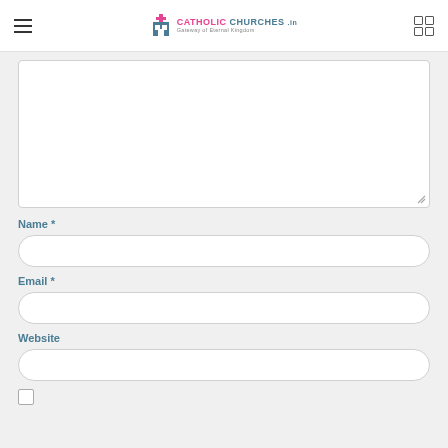Catholic Churches .in - Gateway of Eternal Kingdom
[Comment text area]
Name *
[Name input field]
Email *
[Email input field]
Website
[Website input field]
[Checkbox]